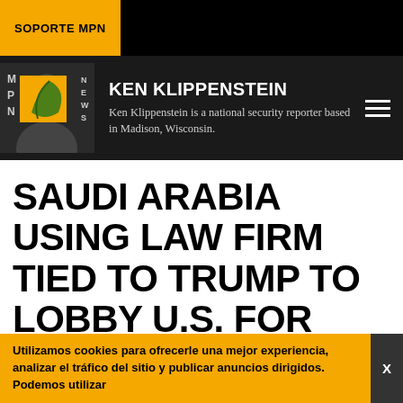SOPORTE MPN
KEN KLIPPENSTEIN
Ken Klippenstein is a national security reporter based in Madison, Wisconsin.
SAUDI ARABIA USING LAW FIRM TIED TO TRUMP TO LOBBY U.S. FOR NUCLEAR DEAL
Saudi Arabia has elicited the help King & Spalding, an
Utilizamos cookies para ofrecerle una mejor experiencia, analizar el tráfico del sitio y publicar anuncios dirigidos. Podemos utilizar